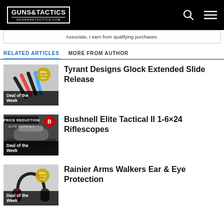GUNS & TACTICS GUNSANDTACTICS.COM
Associate, I earn from qualifying purchases.
RELATED ARTICLES
MORE FROM AUTHOR
[Figure (photo): Deal of the Week badge over gun slide releases product image]
Tyrant Designs Glock Extended Slide Release
[Figure (photo): Price Reduction Bushnell Elite Tactical II riflescope product image with Deal of the Week label]
Bushnell Elite Tactical II 1-6×24 Riflescopes
[Figure (photo): Headphones ear protection product image with Deal of the Week badge]
Rainier Arms Walkers Ear & Eye Protection